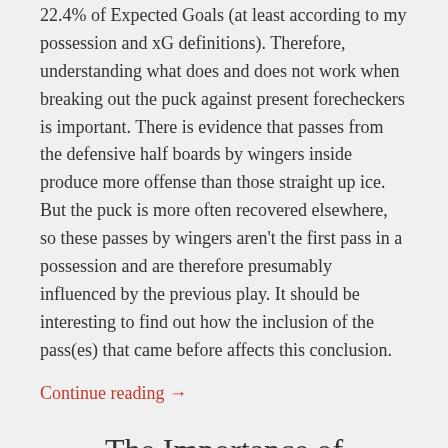22.4% of Expected Goals (at least according to my possession and xG definitions). Therefore, understanding what does and does not work when breaking out the puck against present forecheckers is important. There is evidence that passes from the defensive half boards by wingers inside produce more offense than those straight up ice. But the puck is more often recovered elsewhere, so these passes by wingers aren't the first pass in a possession and are therefore presumably influenced by the previous play. It should be interesting to find out how the inclusion of the pass(es) that came before affects this conclusion.
Continue reading →
The Importance of